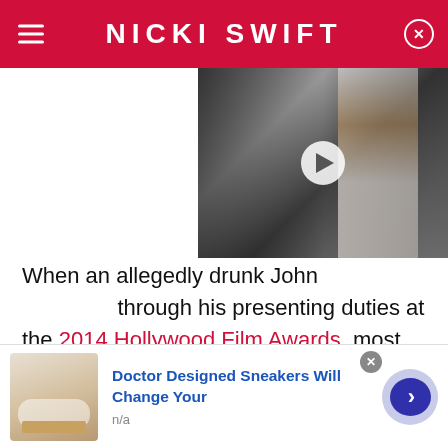NICKI SWIFT
[Figure (photo): Video thumbnail showing a woman with long hair in a formal setting, with a play button overlay]
When an allegedly drunk John through his presenting duties at the 2014 Hollywood Film Awards, most people didn't think much of it. The actor was well past his days of smashing up hotel rooms, and he wasn't exactly known for drunken behavior, so it seemed like a hilarious Hollywood faux pas. It happens. But two years later, Depp and actress Amber Heard...
[Figure (screenshot): Advertisement banner: Doctor Designed Sneakers Will Change Your - n/a, with shoe image and arrow button]